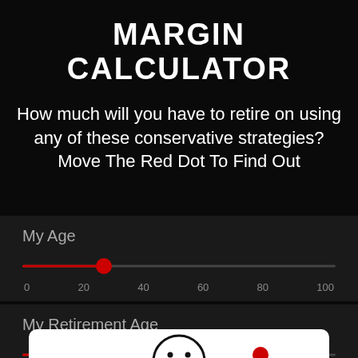MARGIN CALCULATOR
How much will you have to retire on using any of these conservative strategies?
Move The Red Dot To Find Out
[Figure (infographic): Interactive slider UI showing 'My Age' slider with red dot at approximately 20 on a 0-100 scale, and 'My Retirement Age' slider with red dot at approximately 76 on a 0-100 scale. Below is a white popup panel showing a neutral/sad face emoticon.]